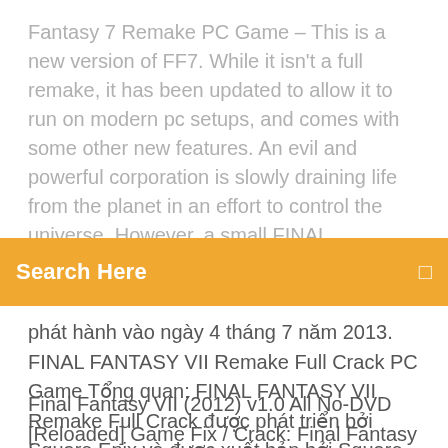Fantasy 7 Remake PC Game – This is a new version of FF7. While it isn't a full remake, it has been updated to allow it to run on modern pc setups, and comes with some other new features. An evil and powerful corporation is slowly draining life from the planet in an effort to control the universe. However, a small FINAL FANTASY VII Remake Full Crack PC Game Tổng
Search Here
phát hành vào ngày 4 tháng 7 năm 2013. FINAL FANTASY VII Remake Full Crack PC Game Tổng quan: FINAL FANTASY VII Remake Full Crack được phát triển bởi Square Enix và được xuất bản bởi Square Enix. Nó được phát hành vào ngày 4 tháng 7 năm 2013.
Final Fantasy VII (2012) v1.0 All No-DVD [Reloaded] Game Fix / Crack: Final Fantasy VII (2012) v1.0 All No-DVD [Reloaded] NoDVD NoCD | MegaGames Skip to navigation Skip to main content Providing the best of the following of Final...